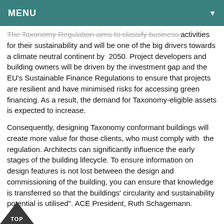MENU ▼
The Taxonomy Regulation aims to classify business activities for their sustainability and will be one of the big drivers towards a climate neutral continent by 2050. Project developers and building owners will be driven by the investment gap and the EU's Sustainable Finance Regulations to ensure that projects are resilient and have minimised risks for accessing green financing. As a result, the demand for Taxonomy-eligible assets is expected to increase.
Consequently, designing Taxonomy conformant buildings will create more value for those clients, who must comply with the regulation. Architects can significantly influence the early stages of the building lifecycle. To ensure information on design features is not lost between the design and commissioning of the building, you can ensure that knowledge is transferred so that the buildings' circularity and sustainability potential is utilised". ACE President, Ruth Schagemann.